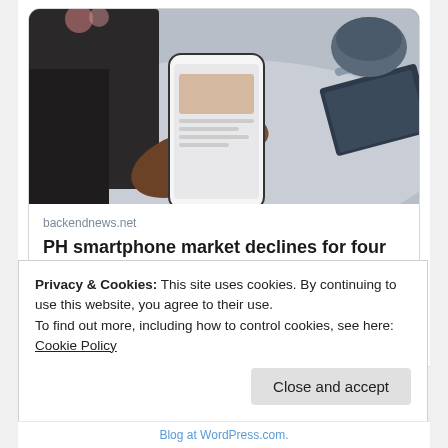[Figure (photo): Person holding and using a smartphone at a table with a coffee cup, notebook, and pen in the background]
backendnews.net
PH smartphone market declines for four consecutive quarter — IDC
Privacy & Cookies: This site uses cookies. By continuing to use this website, you agree to their use.
To find out more, including how to control cookies, see here: Cookie Policy
Close and accept